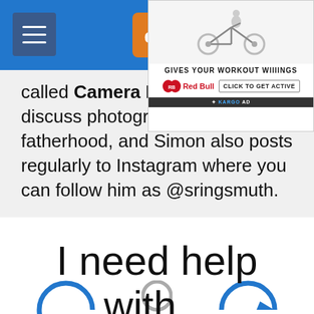[Figure (screenshot): Website navigation bar with hamburger menu icon on left, dPS logo (orange square with 'dB' letters) in center, and a Red Bull advertisement overlay in top right corner showing a cyclist with text 'GIVES YOUR WORKOUT WIIIINGS', Red Bull logo, 'CLICK TO GET ACTIVE' button, and KARGO AD label]
called Camera Dads where they discuss photography and fatherhood, and Simon also posts regularly to Instagram where you can follow him as @sringsmuth.
I need help with...
[Figure (illustration): Bottom section with blue circular icon outlines partially visible, including a chat/speech bubble icon on left, a small grey circular icon in center, and an arrow/navigation icon on right, all on white background above blue section]